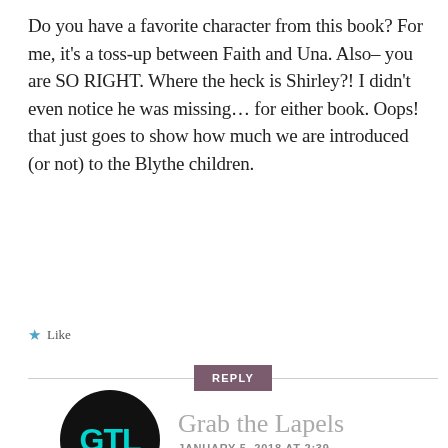Do you have a favorite character from this book? For me, it's a toss-up between Faith and Una. Also– you are SO RIGHT. Where the heck is Shirley?! I didn't even notice he was missing… for either book. Oops! that just goes to show how much we are introduced (or not) to the Blythe children.
★ Like
REPLY
Grab the Lapels
JANUARY 5, 2018 AT 2:39 PM